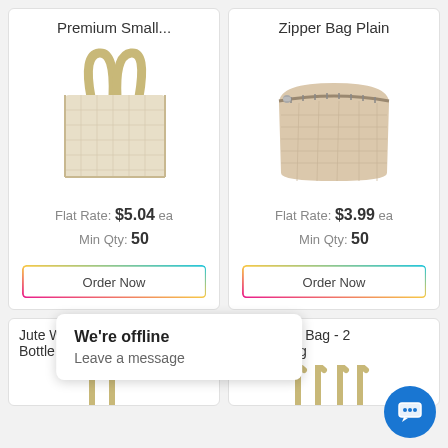Premium Small...
[Figure (photo): Small natural jute tote bag with handles]
Flat Rate: $5.04 ea
Min Qty: 50
Order Now
Zipper Bag Plain
[Figure (photo): Small natural jute zipper pouch/bag]
Flat Rate: $3.99 ea
Min Qty: 50
Order Now
Jute Wine Bag - 1 Bottle - Pla...
Jute Wine Bag - 2 Bottle - ...g
We're offline
Leave a message